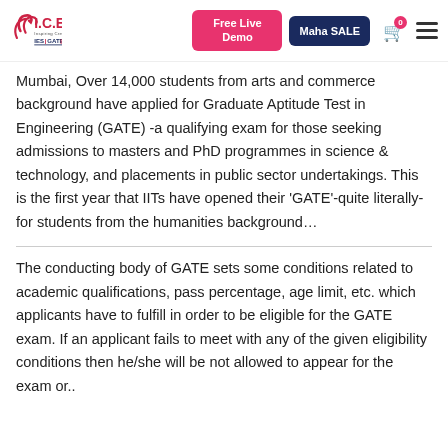I.C.E. IES GATE PSU — Free Live Demo | Maha SALE
Mumbai, Over 14,000 students from arts and commerce background have applied for Graduate Aptitude Test in Engineering (GATE) -a qualifying exam for those seeking admissions to masters and PhD programmes in science & technology, and placements in public sector undertakings. This is the first year that IITs have opened their 'GATE'-quite literally-for students from the humanities background…
The conducting body of GATE sets some conditions related to academic qualifications, pass percentage, age limit, etc. which applicants have to fulfill in order to be eligible for the GATE exam. If an applicant fails to meet with any of the given eligibility conditions then he/she will be not allowed to appear for the exam or..